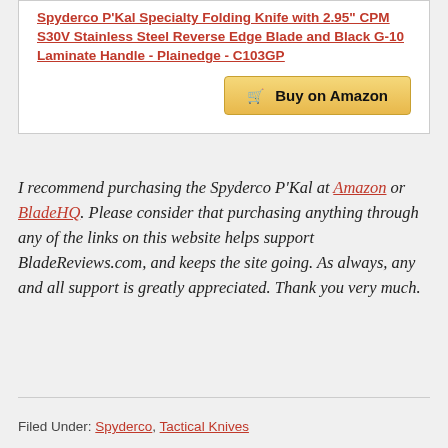Spyderco P'Kal Specialty Folding Knife with 2.95" CPM S30V Stainless Steel Reverse Edge Blade and Black G-10 Laminate Handle - Plainedge - C103GP
Buy on Amazon
I recommend purchasing the Spyderco P'Kal at Amazon or BladeHQ. Please consider that purchasing anything through any of the links on this website helps support BladeReviews.com, and keeps the site going. As always, any and all support is greatly appreciated. Thank you very much.
Filed Under: Spyderco, Tactical Knives